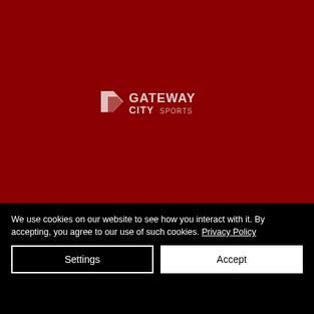[Figure (logo): Gateway City Sports logo centered on a dark red background. White geometric shape on left, white text reading GATEWAY CITY SPORTS on right.]
We use cookies on our website to see how you interact with it. By accepting, you agree to our use of such cookies. Privacy Policy
Settings
Accept